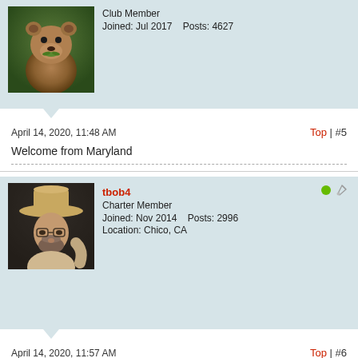[Figure (photo): Bear avatar photo - brown bear standing upright with green foliage in mouth]
Club Member
Joined: Jul 2017    Posts: 4627
April 14, 2020, 11:48 AM
Top | #5
Welcome from Maryland
[Figure (photo): Avatar photo of a man wearing a cowboy hat and glasses]
tbob4
Charter Member
Joined: Nov 2014    Posts: 2996
Location: Chico, CA
April 14, 2020, 11:57 AM
Top | #6